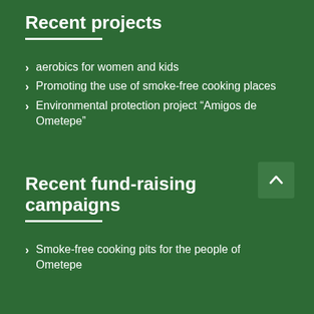Recent projects
aerobics for women and kids
Promoting the use of smoke-free cooking places
Environmental protection project “Amigos de Ometepe”
Recent fund-raising campaigns
Smoke-free cooking pits for the people of Ometepe